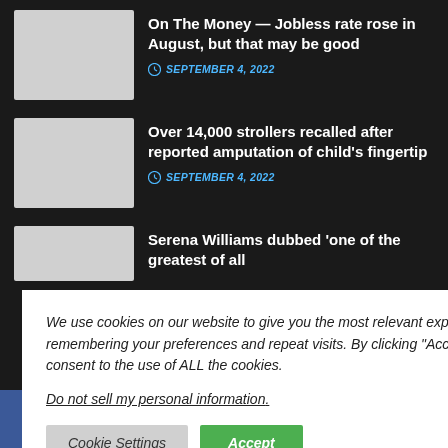On The Money — Jobless rate rose in August, but that may be good
SEPTEMBER 4, 2022
Over 14,000 strollers recalled after reported amputation of child's fingertip
SEPTEMBER 4, 2022
Serena Williams dubbed 'one of the greatest of all
We use cookies on our website to give you the most relevant experience by remembering your preferences and repeat visits. By clicking "Accept", you consent to the use of ALL the cookies.
Do not sell my personal information.
Cookie Settings   Accept
ct us